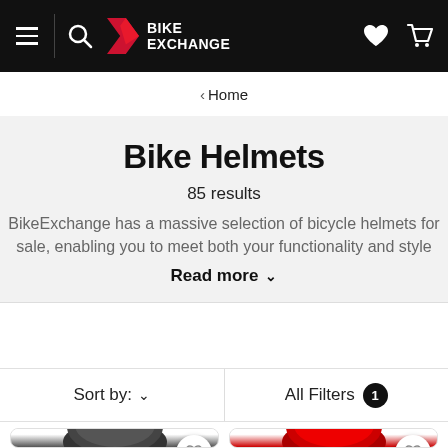BikeExchange navigation bar with menu, search, logo, wishlist, and cart icons
‹ Home
Bike Helmets
85 results
BikeExchange has a massive selection of bicycle helmets for sale, enabling you to meet both your functionality and style
Read more ∨
Sort by: ∨
All Filters 1
[Figure (photo): Two bike helmet product cards partially visible at the bottom of the page, each with a white circular wishlist (heart) button overlay.]